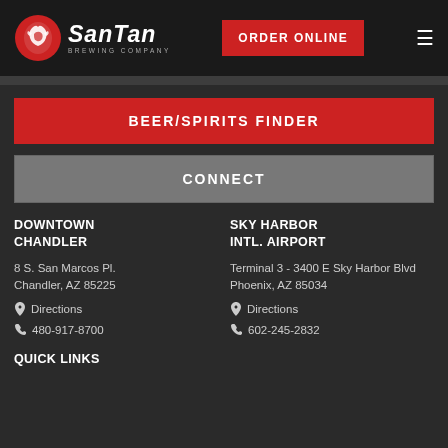[Figure (logo): SanTan Brewing Company logo with red dragon icon and white italic text]
ORDER ONLINE
≡
BEER/SPIRITS FINDER
CONNECT
DOWNTOWN CHANDLER
8 S. San Marcos Pl.
Chandler, AZ 85225
Directions
480-917-8700
SKY HARBOR INTL. AIRPORT
Terminal 3 - 3400 E Sky Harbor Blvd
Phoenix, AZ 85034
Directions
602-245-2832
QUICK LINKS